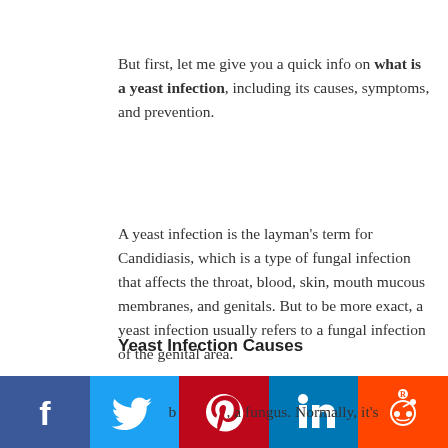But first, let me give you a quick info on what is a yeast infection, including its causes, symptoms, and prevention.
A yeast infection is the layman's term for Candidiasis, which is a type of fungal infection that affects the throat, blood, skin, mouth mucous membranes, and genitals. But to be more exact, a yeast infection usually refers to a fungal infection of the genital area.
Yeast Infection Causes
How do you get a yeast infection?
A yeast infection occurs when there is an overgrowth … a fungus. Normally, it's